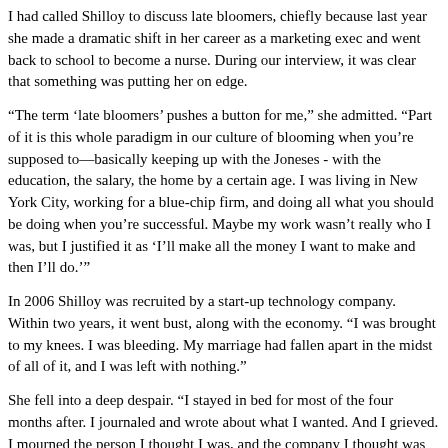I had called Shilloy to discuss late bloomers, chiefly because last year she made a dramatic shift in her career as a marketing exec and went back to school to become a nurse. During our interview, it was clear that something was putting her on edge.
“The term ‘late bloomers’ pushes a button for me,” she admitted. “Part of it is this whole paradigm in our culture of blooming when you’re supposed to—basically keeping up with the Joneses - with the education, the salary, the home by a certain age. I was living in New York City, working for a blue-chip firm, and doing all what you should be doing when you’re successful. Maybe my work wasn’t really who I was, but I justified it as ‘I’ll make all the money I want to make and then I’ll do.’”
In 2006 Shilloy was recruited by a start-up technology company. Within two years, it went bust, along with the economy. “I was brought to my knees. I was bleeding. My marriage had fallen apart in the midst of all of it, and I was left with nothing.”
She fell into a deep despair. “I stayed in bed for most of the four months after. I journaled and wrote about what I wanted. And I grieved. I mourned the person I thought I was, and the company I thought was going to take off. I mourned my home, my belongings I’d surrounded by that, in the end, had nothing to do with my comfort, my security.”
With her savings spent, she packed up her home and placed everything in storage and did what once seemed unthinkable to her: She moved back to her parents’ house. “I was really honest about what was happening.”
Within months, she identified that missing thing that had eluded her